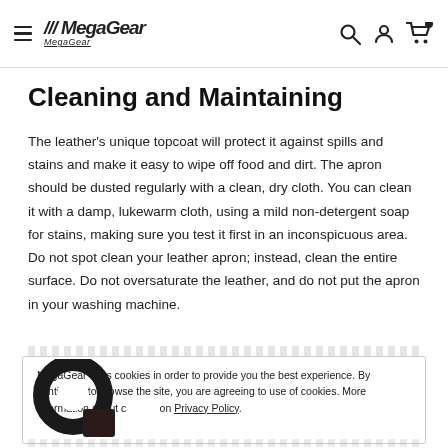MegaGear navigation header with hamburger menu, logo, search icon, user icon, and cart icon (0 items)
Cleaning and Maintaining
The leather's unique topcoat will protect it against spills and stains and make it easy to wipe off food and dirt. The apron should be dusted regularly with a clean, dry cloth. You can clean it with a damp, lukewarm cloth, using a mild non-detergent soap for stains, making sure you test it first in an inconspicuous area. Do not spot clean your leather apron; instead, clean the entire surface. Do not oversaturate the leather, and do not put the apron in your washing machine.
MegaGear uses cookies in order to provide you the best experience. By continuing to browse the site, you are agreeing to use of cookies. More information about cookies on Privacy Policy.